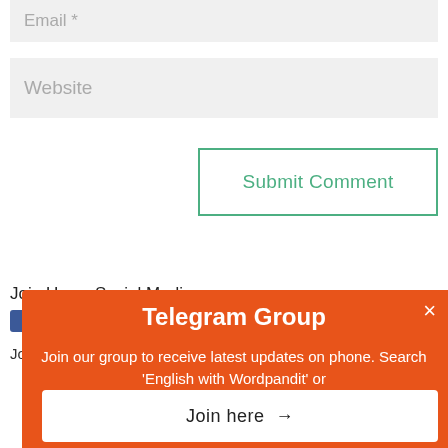Email *
Website
Submit Comment
Join Us on Social Media
Join our t...
Telegram Group
Join our group to receive latest updates on phone. Search 'English with Wordpandit' or
Join here →